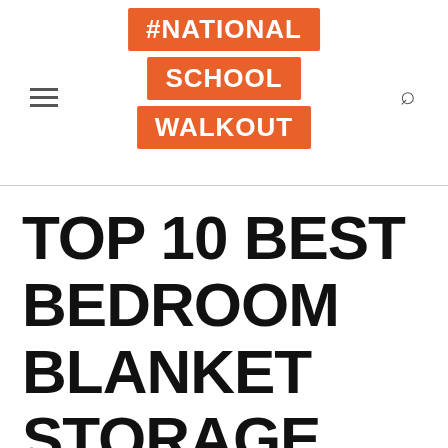#NATIONAL SCHOOL WALKOUT
TOP 10 BEST BEDROOM BLANKET STORAGE REVIEWS